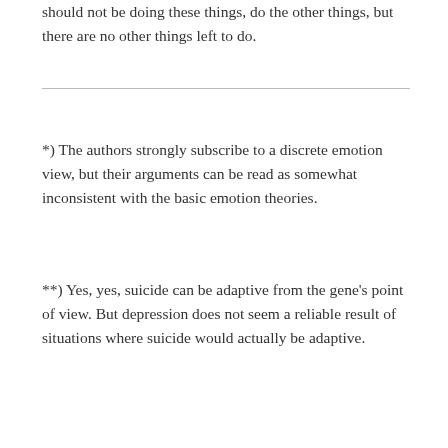should not be doing these things, do the other things, but there are no other things left to do.
*) The authors strongly subscribe to a discrete emotion view, but their arguments can be read as somewhat inconsistent with the basic emotion theories.
**) Yes, yes, suicide can be adaptive from the gene's point of view. But depression does not seem a reliable result of situations where suicide would actually be adaptive.